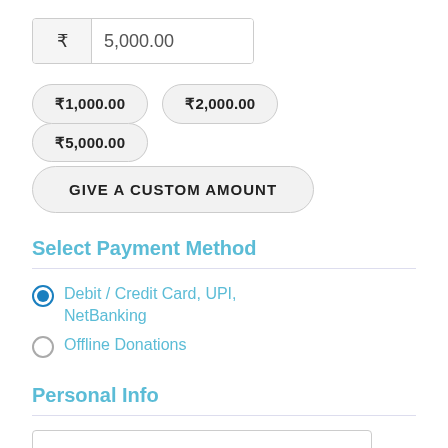₹ 5,000.00
₹1,000.00
₹2,000.00
₹5,000.00
GIVE A CUSTOM AMOUNT
Select Payment Method
Debit / Credit Card, UPI, NetBanking
Offline Donations
Personal Info
First Name *